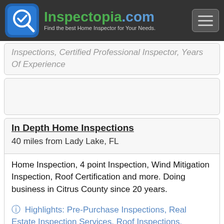Inspectopia.com - Find the best Home Inspector for Your Needs.
Inspections, Certified Professional Inspector, Years Of Experience
In Depth Home Inspections
40 miles from Lady Lake, FL
Home Inspection, 4 point Inspection, Wind Mitigation Inspection, Roof Certification and more. Doing business in Citrus County since 20 years.
Highlights: Pre-Purchase Inspections, Real Estate Inspection Services, Roof Inspections, Moisture & Water Infiltration Testing, Pre-list Inspections, Certified Professional Inspector, Now